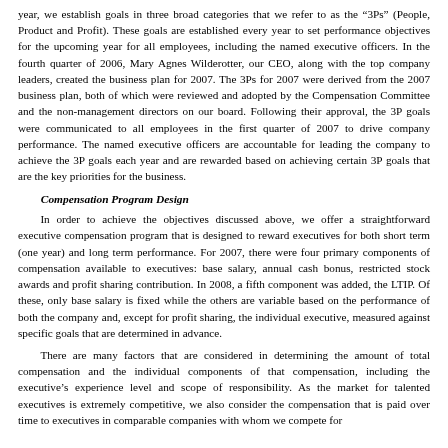year, we establish goals in three broad categories that we refer to as the '3Ps' (People, Product and Profit). These goals are established every year to set performance objectives for the upcoming year for all employees, including the named executive officers. In the fourth quarter of 2006, Mary Agnes Wilderotter, our CEO, along with the top company leaders, created the business plan for 2007. The 3Ps for 2007 were derived from the 2007 business plan, both of which were reviewed and adopted by the Compensation Committee and the non-management directors on our board. Following their approval, the 3P goals were communicated to all employees in the first quarter of 2007 to drive company performance. The named executive officers are accountable for leading the company to achieve the 3P goals each year and are rewarded based on achieving certain 3P goals that are the key priorities for the business.
Compensation Program Design
In order to achieve the objectives discussed above, we offer a straightforward executive compensation program that is designed to reward executives for both short term (one year) and long term performance. For 2007, there were four primary components of compensation available to executives: base salary, annual cash bonus, restricted stock awards and profit sharing contribution. In 2008, a fifth component was added, the LTIP. Of these, only base salary is fixed while the others are variable based on the performance of both the company and, except for profit sharing, the individual executive, measured against specific goals that are determined in advance.
There are many factors that are considered in determining the amount of total compensation and the individual components of that compensation, including the executive's experience level and scope of responsibility. As the market for talented executives is extremely competitive, we also consider the compensation that is paid over time to executives in comparable companies with whom we compete for